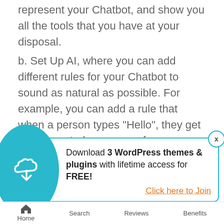represent your Chatbot, and show you all the tools that you have at your disposal.
b. Set Up AI, where you can add different rules for your Chatbot to sound as natural as possible. For example, you can add a rule that when a person types “Hello”, they get an automated response of your choosing.
Naturally, they use specialized algorithms
[Figure (screenshot): Popup advertisement: Download 3 WordPress themes & plugins with lifetime access for FREE! Click here to Join. Blue circular icon with cloud download symbol on the left. X close button top right.]
Home   Search   Reviews   Benefits